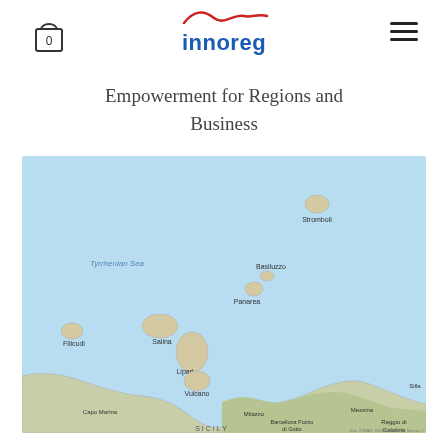innoreg — Empowerment for Regions and Business
Empowerment for Regions and Business
[Figure (map): Map of the Aeolian Islands (Isole Eolie) in the Tyrrhenian Sea off the north coast of Sicily, Italy. Islands labeled include Stromboli, Basiluzzo, Panarea, Filicudi, Salina, Lipari, and Vulcano. The northern coast of Sicily is visible at the bottom with locations including Milazzo, Barcellona Pozzo di Gotto, Messina, Reggio di Calabria, Capo d'Orlando (Capo Marina), and Sella.]